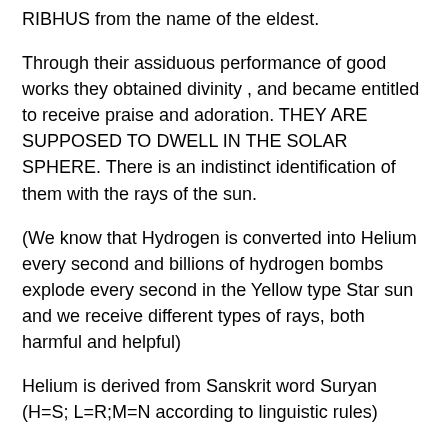RIBHUS from the name of the eldest.
Through their assiduous performance of good works they obtained divinity , and became entitled to receive praise and adoration. THEY ARE SUPPOSED TO DWELL IN THE SOLAR SPHERE. There is an indistinct identification of them with the rays of the sun.
(We know that Hydrogen is converted into Helium every second and billions of hydrogen bombs explode every second in the Yellow type Star sun and we receive different types of rays, both harmful and helpful)
Helium is derived from Sanskrit word Suryan (H=S; L=R;M=N according to linguistic rules)
But I don't know whether they meant the elements in sun.
Ribhus show us one more thing. Professor Wilson says